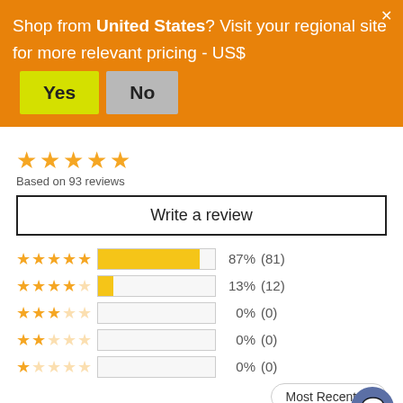Shop from United States? Visit your regional site for more relevant pricing - US$
[Figure (screenshot): Yes and No buttons for regional site redirect]
[Figure (infographic): Star rating display: 5 stars, Based on 93 reviews]
Based on 93 reviews
Write a review
[Figure (bar-chart): Rating breakdown]
Most Recent
04/19/2022